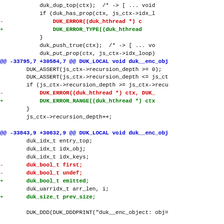[Figure (screenshot): Unified diff / code patch showing changes to C source code. Context lines in black, removed lines in red prefixed with '-', added lines in green prefixed with '+', hunk headers in blue bold with @@ markers.]